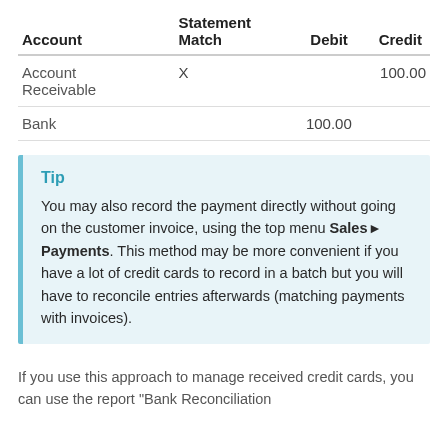| Account | Statement Match | Debit | Credit |
| --- | --- | --- | --- |
| Account Receivable | X |  | 100.00 |
| Bank |  | 100.00 |  |
Tip
You may also record the payment directly without going on the customer invoice, using the top menu Sales ▸ Payments. This method may be more convenient if you have a lot of credit cards to record in a batch but you will have to reconcile entries afterwards (matching payments with invoices).
If you use this approach to manage received credit cards, you can use the report "Bank Reconciliation Report" to verify which credit cards have been...